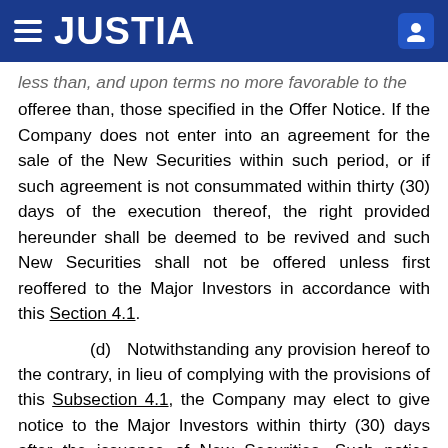JUSTIA
less than, and upon terms no more favorable to the offeree than, those specified in the Offer Notice. If the Company does not enter into an agreement for the sale of the New Securities within such period, or if such agreement is not consummated within thirty (30) days of the execution thereof, the right provided hereunder shall be deemed to be revived and such New Securities shall not be offered unless first reoffered to the Major Investors in accordance with this Section 4.1.
(d) Notwithstanding any provision hereof to the contrary, in lieu of complying with the provisions of this Subsection 4.1, the Company may elect to give notice to the Major Investors within thirty (30) days after the issuance of New Securities. Such notice shall describe the type, price, and terms of the New Securities. Each Major Investor shall have fifteen (15) days from the date notice is given to elect to